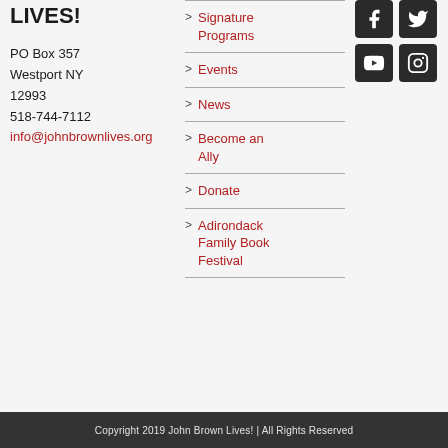LIVES!
PO Box 357
Westport NY 12993
518-744-7112
info@johnbrownlives.org
Signature Programs
Events
News
Become an Ally
Donate
Adirondack Family Book Festival
[Figure (infographic): Social media icons: Facebook, Twitter, YouTube, Instagram — dark square buttons in a 2x2 grid]
Copyright 2019 John Brown Lives! | All Rights Reserved